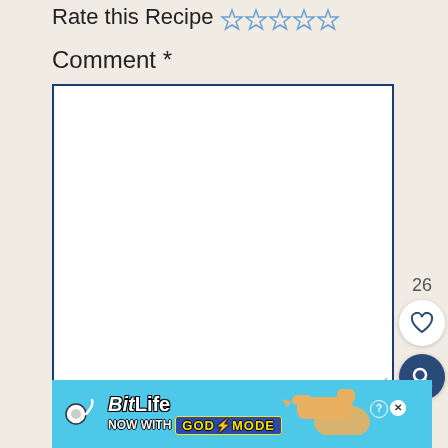Rate this Recipe ☆☆☆☆☆
Comment *
[Figure (screenshot): Empty comment text area with blue border, with resize handle at bottom-right]
[Figure (infographic): 26 count with heart/favorite button and search button floating on right side]
[Figure (infographic): BitLife advertisement banner: NOW WITH GOD MODE, showing lightning bolt and pointing hand graphic]